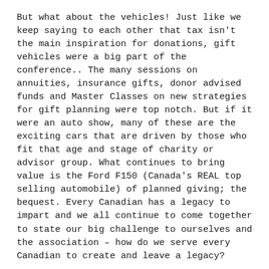But what about the vehicles! Just like we keep saying to each other that tax isn't the main inspiration for donations, gift vehicles were a big part of the conference.. The many sessions on annuities, insurance gifts, donor advised funds and Master Classes on new strategies for gift planning were top notch. But if it were an auto show, many of these are the exciting cars that are driven by those who fit that age and stage of charity or advisor group. What continues to bring value is the Ford F150 (Canada's REAL top selling automobile) of planned giving; the bequest. Every Canadian has a legacy to impart and we all continue to come together to state our big challenge to ourselves and the association – how do we serve every Canadian to create and leave a legacy?
And this is the question I pose to you dear reader.
This is not an 'article', this is a living breathing conversation and we need your voice! Were you wearing a 'red lanyard' at the conference (indicating this was your first time attending) Were you a veteran attendee still wrasselin' with